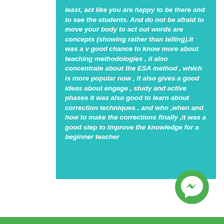least, act like you are happy to be there and to see the students. And do not be afraid to move your body to act out words are concepts (showing rather than telling).It was a v good chance to know more about teaching methodologies , it also concentrate about the ESA method , which is more popular now , it also gives a good ideas about engage , study and active phases It was also good to learn about correction techniques , and who ,when and how to make the corrections finally ,it was a good step to improve the knowledge for a beginner teacher
[Figure (logo): Facebook Messenger logo — green circle with white lightning bolt/chat icon]